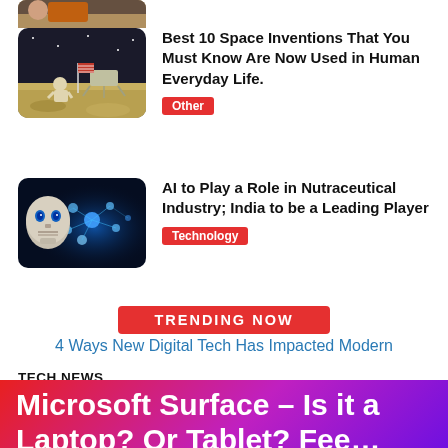[Figure (photo): Partial astronaut/space image cropped at top]
[Figure (photo): Astronaut on the moon surface with American flag and lunar lander]
Best 10 Space Inventions That You Must Know Are Now Used in Human Everyday Life.
Other
[Figure (photo): AI robot face with glowing neural network brain visualization]
AI to Play a Role in Nutraceutical Industry; India to be a Leading Player
Technology
TRENDING NOW
4 Ways New Digital Tech Has Impacted Modern
TECH NEWS
Microsoft Surface – Is it a Laptop? Or Tablet? Fee…